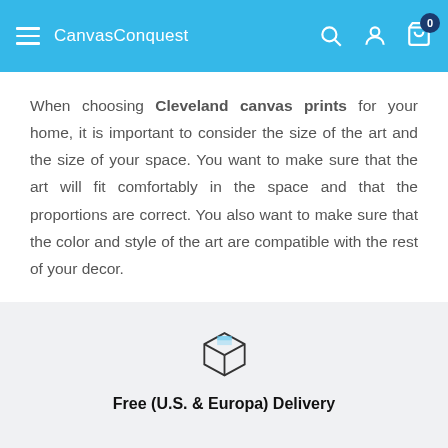CanvasConquest
When choosing Cleveland canvas prints for your home, it is important to consider the size of the art and the size of your space. You want to make sure that the art will fit comfortably in the space and that the proportions are correct. You also want to make sure that the color and style of the art are compatible with the rest of your decor.
[Figure (illustration): Box/package icon representing delivery]
Free (U.S. & Europa) Delivery